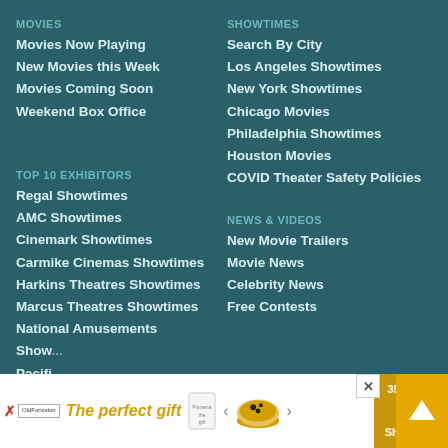MOVIES
Movies Now Playing
New Movies this Week
Movies Coming Soon
Weekend Box Office
SHOWTIMES
Search By City
Los Angeles Showtimes
New York Showtimes
Chicago Movies
Philadelphia Showtimes
Houston Movies
COVID Theater Safety Policies
TOP 10 EXHIBITORS
Regal Showtimes
AMC Showtimes
Cinemark Showtimes
Carmike Cinemas Showtimes
Harkins Theatres Showtimes
Marcus Theatres Showtimes
National Amusements
Show...
Pacifi...
NEWS & VIDEOS
New Movie Trailers
Movie News
Celebrity News
Free Contests
[Figure (screenshot): Advertisement banner at the bottom: 'The perfect gift' with food imagery and '35% OFF + FREE SHIPPING' promo, close button X, and scroll-up arrow button in orange.]